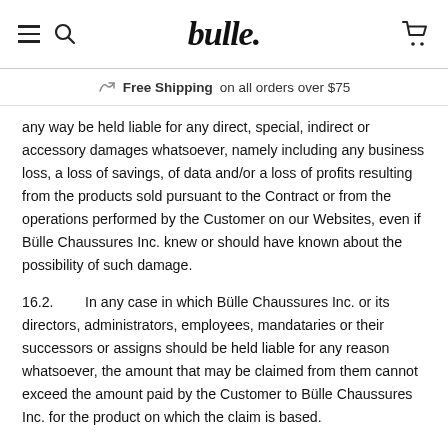bulle. [navigation header with hamburger menu, search icon, logo, and cart icon]
Free Shipping on all orders over $75
any way be held liable for any direct, special, indirect or accessory damages whatsoever, namely including any business loss, a loss of savings, of data and/or a loss of profits resulting from the products sold pursuant to the Contract or from the operations performed by the Customer on our Websites, even if Bülle Chaussures Inc. knew or should have known about the possibility of such damage.
16.2. In any case in which Bülle Chaussures Inc. or its directors, administrators, employees, mandataries or their successors or assigns should be held liable for any reason whatsoever, the amount that may be claimed from them cannot exceed the amount paid by the Customer to Bülle Chaussures Inc. for the product on which the claim is based.